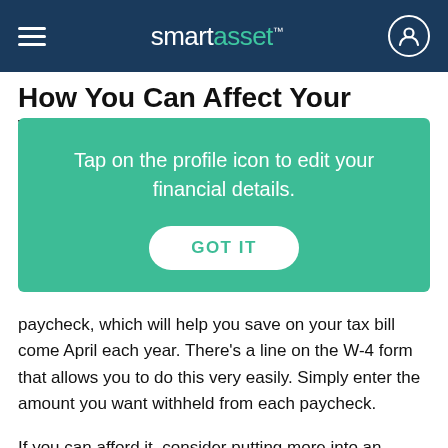smartasset™
How You Can Affect Your Wyoming
[Figure (infographic): Tooltip overlay with teal background showing: 'Tap on the profile icon to edit your financial details.' with a 'GOT IT' button]
paycheck, which will help you save on your tax bill come April each year. There's a line on the W-4 form that allows you to do this very easily. Simply enter the amount you want withheld from each paycheck.
If you can afford it, consider putting more into an employer-sponsored retirement account like a 401(k) or 403(b). Increasing your contribution will help you reach your retirement savings goals and it will also help you lower how much you pay in taxes. Money that you contribute to a 401(k)